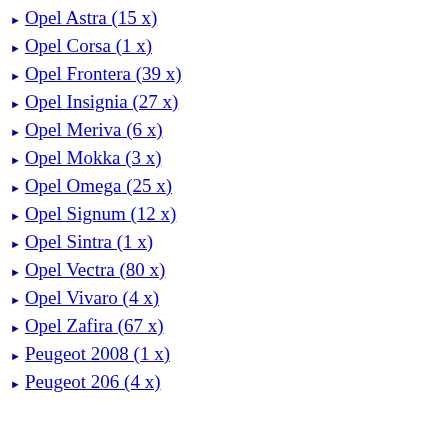Opel Astra (15 x)
Opel Corsa (1 x)
Opel Frontera (39 x)
Opel Insignia (27 x)
Opel Meriva (6 x)
Opel Mokka (3 x)
Opel Omega (25 x)
Opel Signum (12 x)
Opel Sintra (1 x)
Opel Vectra (80 x)
Opel Vivaro (4 x)
Opel Zafira (67 x)
Peugeot 2008 (1 x)
Peugeot 206 (4 x)